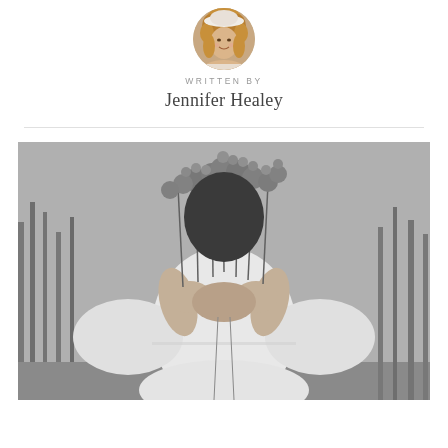[Figure (photo): Circular author avatar photo of Jennifer Healey — a woman with curly blonde hair, smiling, wearing a white hat, photographed outdoors]
WRITTEN BY
Jennifer Healey
[Figure (photo): Black and white photograph of a woman in a white flowing long-sleeve dress with lace trim, holding a large bouquet of wildflowers up in front of her face, standing outdoors among bare winter trees]